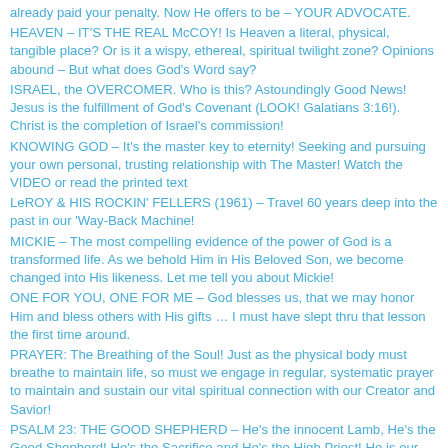already paid your penalty. Now He offers to be – YOUR ADVOCATE.
HEAVEN – IT'S THE REAL McCOY! Is Heaven a literal, physical, tangible place? Or is it a wispy, ethereal, spiritual twilight zone? Opinions abound – But what does God's Word say?
ISRAEL, the OVERCOMER. Who is this? Astoundingly Good News! Jesus is the fulfillment of God's Covenant (LOOK! Galatians 3:16!). Christ is the completion of Israel's commission!
KNOWING GOD – It's the master key to eternity! Seeking and pursuing your own personal, trusting relationship with The Master! Watch the VIDEO or read the printed text
LeROY & HIS ROCKIN' FELLERS (1961) – Travel 60 years deep into the past in our 'Way-Back Machine!
MICKIE – The most compelling evidence of the power of God is a transformed life. As we behold Him in His Beloved Son, we become changed into His likeness. Let me tell you about Mickie!
ONE FOR YOU, ONE FOR ME – God blesses us, that we may honor Him and bless others with His gifts … I must have slept thru that lesson the first time around.
PRAYER: The Breathing of the Soul! Just as the physical body must breathe to maintain life, so must we engage in regular, systematic prayer to maintain and sustain our vital spiritual connection with our Creator and Savior!
PSALM 23: THE GOOD SHEPHERD – He's the innocent Lamb, He's the Good Shepherd! He's the Sacrifice and He's the High Priest! He is our Intercessor and